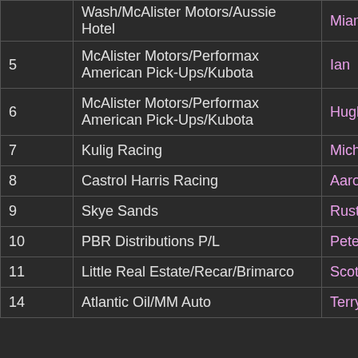| # | Team/Sponsor | First Name | Last Name |
| --- | --- | --- | --- |
|  | Wash/McAlister Motors/Aussie Hotel | Miam |  |
| 5 | McAlister Motors/Performax American Pick-Ups/Kubota | Ian | McAlist… |
| 6 | McAlister Motors/Performax American Pick-Ups/Kubota | Hugh | McAlist… |
| 7 | Kulig Racing | Michael | Kulig |
| 8 | Castrol Harris Racing | Aaron | Seton |
| 9 | Skye Sands | Rusty | French |
| 10 | PBR Distributions P/L | Peter | Robins… |
| 11 | Little Real Estate/Recar/Brimarco | Scott | Camer… |
| 14 | Atlantic Oil/MM Auto | Terry | Mayfie… |